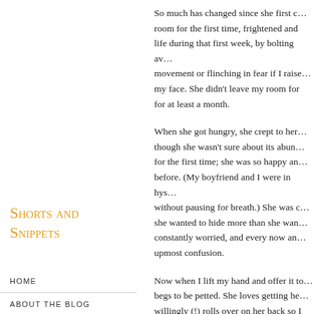So much has changed since she first came into my room for the first time, frightened and trying to hide her life during that first week, by bolting away at the slightest movement or flinching in fear if I raised my hand towards my face. She didn't leave my room for at least a month.
When she got hungry, she crept to her food bowl, though she wasn't sure about its abundance, and ate for the first time; she was so happy and excited she'd never eaten before. (My boyfriend and I were in hysterics as she ate without pausing for breath.) She was clearly a cat that she wanted to hide more than she wanted to eat; she was constantly worried, and every now and again looked at us in upmost confusion.
Shorts and Snippets
HOME
ABOUT THE BLOG
BUY MY BOOK
Now when I lift my hand and offer it to her, she begs to be petted. She loves getting he... willingly (!) rolls over on her back so I c...